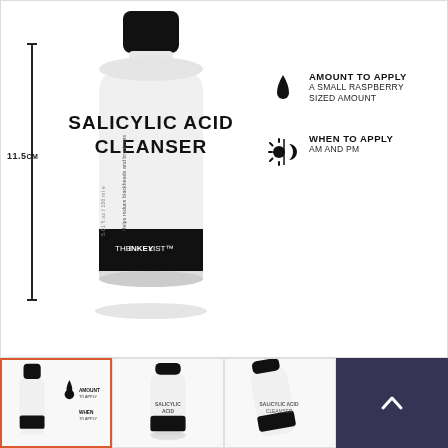[Figure (photo): Product photo of The Inkey List Salicylic Acid Cleanser (150ml bottle) with measurement line showing 11.5cm height, and usage info panel showing amount to apply (a small raspberry sized amount) and when to apply (AM and PM).]
[Figure (photo): Thumbnail 1 (active/selected): The Inkey List Salicylic Acid Cleanser product with measurement info — same as main image.]
[Figure (photo): Thumbnail 2: Side view of The Inkey List Salicylic Acid Cleanser bottle.]
[Figure (photo): Thumbnail 3: Angled view of The Inkey List Salicylic Acid Cleanser bottle.]